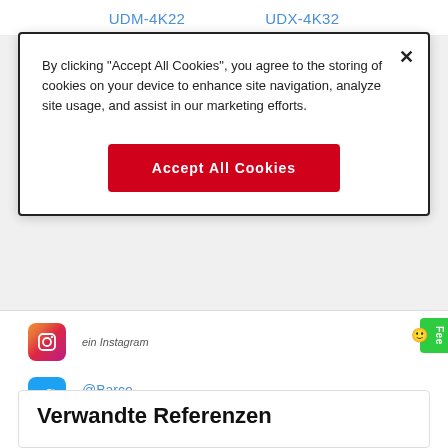UDM-4K22   UDX-4K32
By clicking "Accept All Cookies", you agree to the storing of cookies on your device to enhance site navigation, analyze site usage, and assist in our marketing efforts.
Accept All Cookies
ein Instagram
@Barco ein Twitter
BarcoTV ein YouTube
Verwandte Referenzen